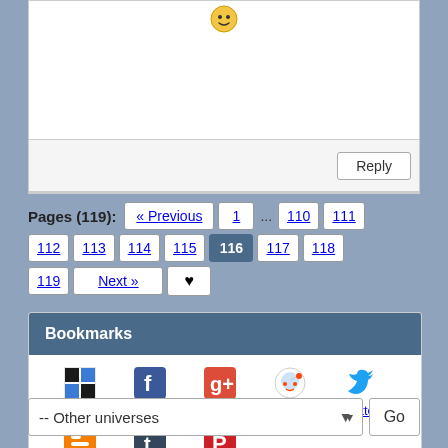[Figure (screenshot): Top portion of a white comment/reply box with a small emoji icon at the top]
Reply
Pages (119): « Previous 1 ... 110 111 112 113 114 115 116 117 118 119 Next »
Bookmarks
del.icio.us
Facebook
Google
Reddit
Twitter
Blogger
Tumblr
Pinterest
-- Other universes
Go